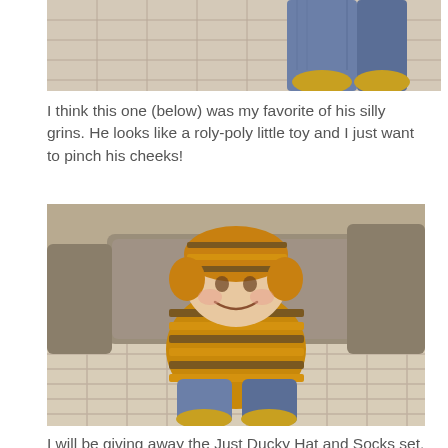[Figure (photo): Partial photo of a person's legs/feet wearing jeans and yellow shoes/socks, viewed from above on a plaid surface]
I think this one (below) was my favorite of his silly grins. He looks like a roly-poly little toy and I just want to pinch his cheeks!
[Figure (photo): Baby wearing a yellow and brown striped knit hat and matching striped hoodie jacket with jeans and yellow shoes, sitting on a plaid blanket on a couch with brown pillows, smiling]
I will be giving away the Just Ducky Hat and Socks set. It is